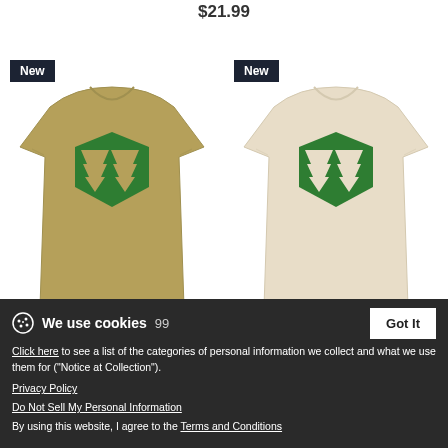$21.99
[Figure (photo): Khaki/tan men's t-shirt with green Pennsylvania Keystone with trees logo. 'New' badge in top-left corner.]
[Figure (photo): Cream/natural fitted cotton/poly t-shirt with green Pennsylvania Keystone with trees logo. 'New' badge in top-left corner.]
PA Keystone w/trees - Men's T-Shirt
$21.99
PA Keystone w/trees - Fitted Cotton/Poly T-Shirt by Next Level
$23.99
We use cookies
Click here to see a list of the categories of personal information we collect and what we use them for ("Notice at Collection").
Privacy Policy
Do Not Sell My Personal Information
By using this website, I agree to the Terms and Conditions